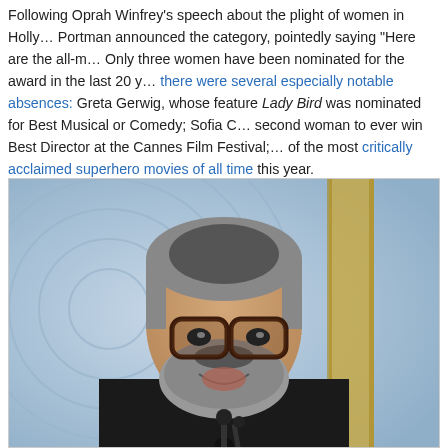Following Oprah Winfrey's speech about the plight of women in Holly... Portman announced the category, pointedly saying "Here are the all-m... Only three women have been nominated for the award in the last 20 y... there were several especially notable absences: Greta Gerwig, whose feature Lady Bird was nominated for Best Musical or Comedy; Sofia C... second woman to ever win Best Director at the Cannes Film Festival;... of the most critically acclaimed superhero movies of all time this year.
[Figure (photo): A heavyset bearded man with glasses in a dark suit and tie speaking at a podium with microphones, appearing to be at an awards ceremony. Background shows circular concentric design elements in blue and a gold pillar.]